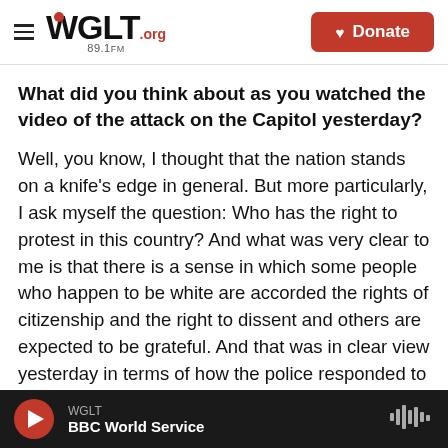WGLT.org 89.1FM | Donate
What did you think about as you watched the video of the attack on the Capitol yesterday?
Well, you know, I thought that the nation stands on a knife's edge in general. But more particularly, I ask myself the question: Who has the right to protest in this country? And what was very clear to me is that there is a sense in which some people who happen to be white are accorded the rights of citizenship and the right to dissent and others are expected to be grateful. And that was in clear view yesterday in terms of how the police responded to a mob
WGLT | BBC World Service